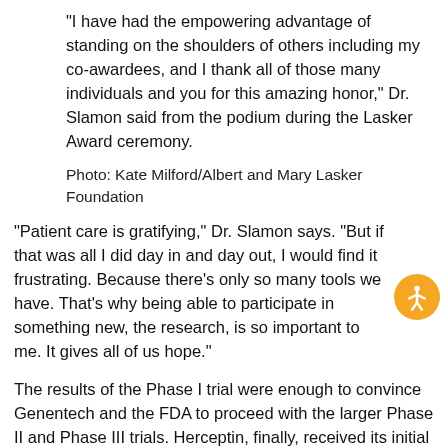“I have had the empowering advantage of standing on the shoulders of others including my co-awardees, and I thank all of those many individuals and you for this amazing honor,” Dr. Slamon said from the podium during the Lasker Award ceremony.
Photo: Kate Milford/Albert and Mary Lasker Foundation
“Patient care is gratifying,” Dr. Slamon says. “But if that was all I did day in and day out, I would find it frustrating. Because there’s only so many tools we have. That’s why being able to participate in something new, the research, is so important to me. It gives all of us hope.”
The results of the Phase I trial were enough to convince Genentech and the FDA to proceed with the larger Phase II and Phase III trials. Herceptin, finally, received its initial FDA approval in 1998.
THE SUCCESS OF HERCEPTIN HAS BEEN NOTHING SHORT OF REMARKABLE. In the early 1990s, women with the HER2+ subtype had an average life expectancy after diagnosis of three-to-five years. Today, women with the